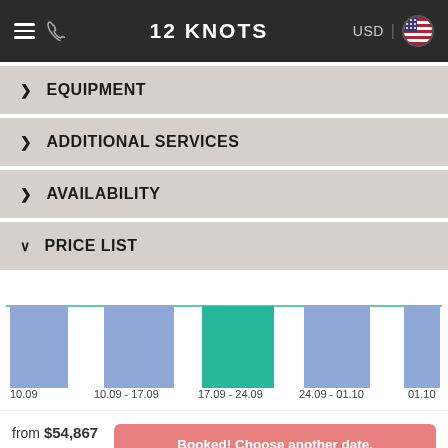12 KNOTS
EQUIPMENT
ADDITIONAL SERVICES
AVAILABILITY
PRICE LIST
[Figure (bar-chart): Price list chart]
from $54,867 for 7 days
Booked! Choose another date.
REVIEWS